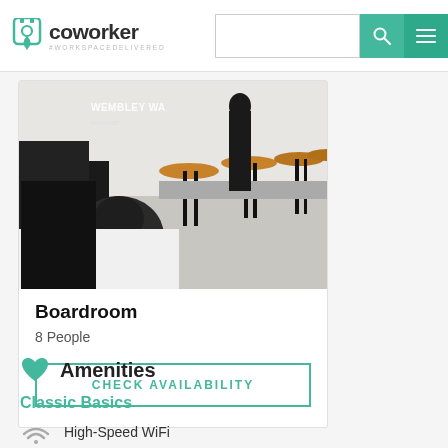coworker #WORKSPACEDELIVERED
[Figure (photo): Office boardroom photo showing bar stools and computer monitors, labeled WEMBLEY WA]
Boardroom
8 People
CHECK AVAILABILITY
Amenities
Classic Basics
High-Speed WiFi